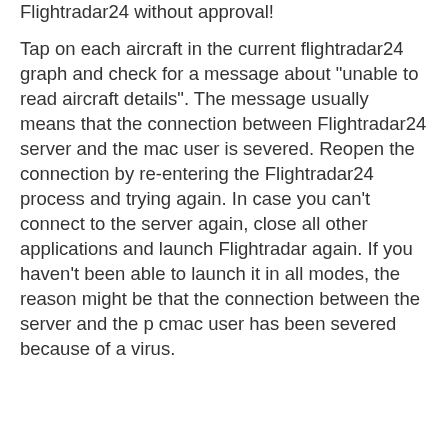Flightradar24 without approval!
Tap on each aircraft in the current flightradar24 graph and check for a message about "unable to read aircraft details". The message usually means that the connection between Flightradar24 server and the mac user is severed. Reopen the connection by re-entering the Flightradar24 process and trying again. In case you can't connect to the server again, close all other applications and launch Flightradar again. If you haven't been able to launch it in all modes, the reason might be that the connection between the server and the p cmac user has been severed because of a virus.